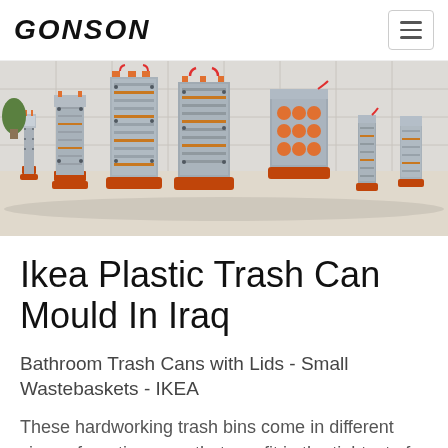GONSON
[Figure (photo): Multiple industrial plastic injection molds of various sizes displayed in a row in a factory/showroom setting. The molds are metallic silver with orange mounting bases and red hose fittings.]
Ikea Plastic Trash Can Mould In Iraq
Bathroom Trash Cans with Lids - Small Wastebaskets - IKEA
These hardworking trash bins come in different sizes - from tiny ones that can fit in the tightest of corners to